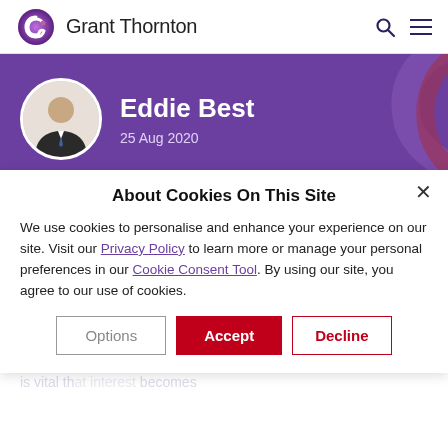Grant Thornton
[Figure (photo): Grant Thornton logo (purple spiral) and company name, with search and menu icons on the right]
Eddie Best
25 Aug 2020
About Cookies On This Site
We use cookies to personalise and enhance your experience on our site. Visit our Privacy Policy to learn more or manage your personal preferences in our Cookie Consent Tool. By using our site, you agree to our use of cookies.
Options  Accept  Decline